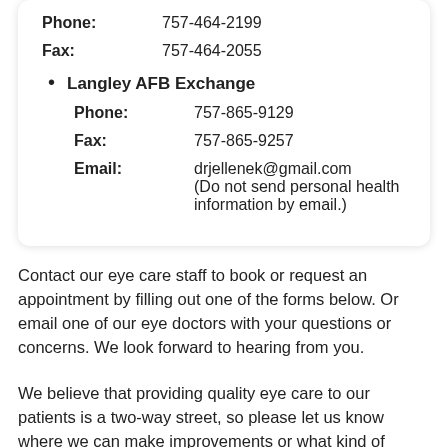Phone: 757-464-2199
Fax: 757-464-2055
Langley AFB Exchange
Phone: 757-865-9129
Fax: 757-865-9257
Email: drjellenek@gmail.com (Do not send personal health information by email.)
Contact our eye care staff to book or request an appointment by filling out one of the forms below. Or email one of our eye doctors with your questions or concerns. We look forward to hearing from you.
We believe that providing quality eye care to our patients is a two-way street, so please let us know where we can make improvements or what kind of services you would like to see in